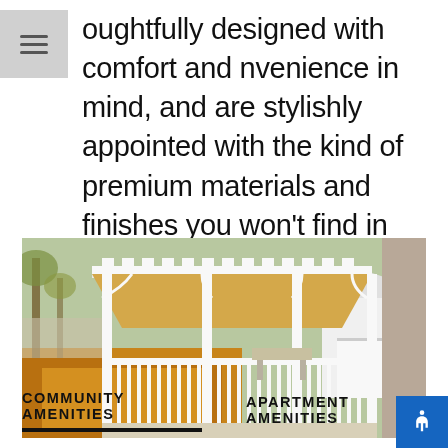oughtfully designed with comfort and nvenience in mind, and are stylishly appointed with the kind of premium materials and finishes you won't find in any other apartments for rent in Dorchester.
[Figure (photo): Outdoor white wooden gazebo/pergola with lattice railings and columns, surrounded by autumn leaves on the ground, with a small white shed and brick building visible in the background.]
COMMUNITY AMENITIES
APARTMENT AMENITIES